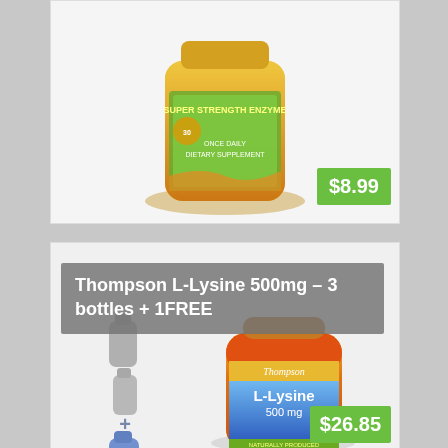[Figure (photo): Top product card showing a supplement bottle (Super Strength Enzyme, Once Daily Dietary Supplement, 30 count) with orange/yellow label, price badge $8.99]
[Figure (photo): Bottom product card showing Thompson L-Lysine 500mg bottle (blue/orange label, 60 count) with 3 small grey bottle thumbnails on left, plus sign, and a blue bottle. Title overlay reads 'Thompson L-Lysine 500mg – 3 bottles + 1FREE'. Price badge $26.85]